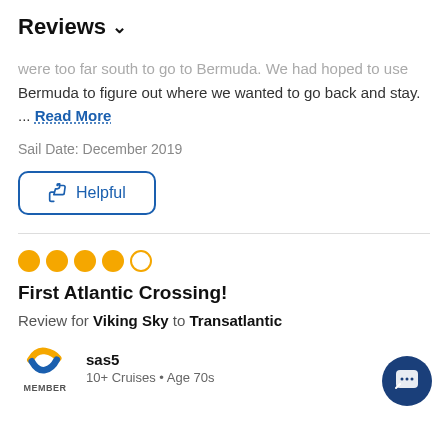Reviews ∨
...were too far south to go to Bermuda. We had hoped to use Bermuda to figure out where we wanted to go back and stay. ... Read More
Sail Date: December 2019
[Figure (other): Helpful button with thumbs up icon and blue border]
[Figure (other): 4 out of 5 filled orange circles (star rating)]
First Atlantic Crossing!
Review for Viking Sky to Transatlantic
[Figure (logo): Cruise Critic Member logo — orange and blue curved C shape with MEMBER text below]
sas5
10+ Cruises • Age 70s